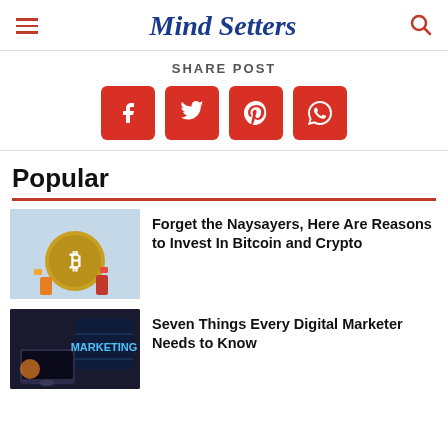Mind Setters
SHARE POST
[Figure (infographic): Four red social media share buttons: Facebook, Twitter, Pinterest, WhatsApp]
Popular
[Figure (photo): Miniature figures next to a large Bitcoin coin on a light blue background]
Forget the Naysayers, Here Are Reasons to Invest In Bitcoin and Crypto
[Figure (photo): Person at laptop with MARKETING digital display in background]
Seven Things Every Digital Marketer Needs to Know